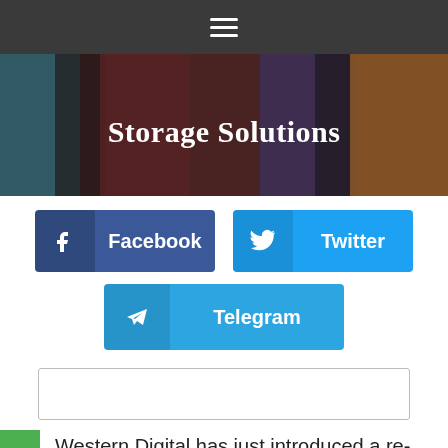☰
Storage Solutions
[Figure (other): Social share buttons: Facebook (dark blue), Twitter (light blue), Telegram (medium blue)]
[Figure (other): Search input box, empty]
Western Digital has just introduced a re- of its My Passport and My Book hard drives!
[Figure (other): Toggle switch UI element, switched off (knob on left), dark grey background]